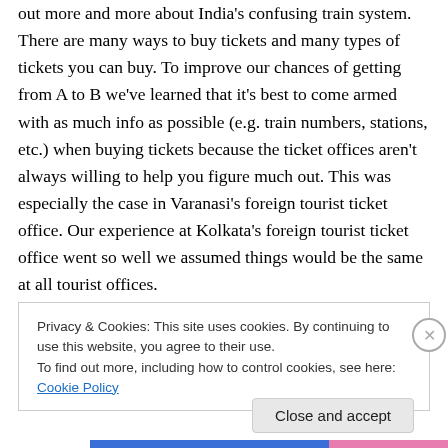out more and more about India's confusing train system. There are many ways to buy tickets and many types of tickets you can buy. To improve our chances of getting from A to B we've learned that it's best to come armed with as much info as possible (e.g. train numbers, stations, etc.) when buying tickets because the ticket offices aren't always willing to help you figure much out. This was especially the case in Varanasi's foreign tourist ticket office. Our experience at Kolkata's foreign tourist ticket office went so well we assumed things would be the same at all tourist offices.
Privacy & Cookies: This site uses cookies. By continuing to use this website, you agree to their use.
To find out more, including how to control cookies, see here: Cookie Policy